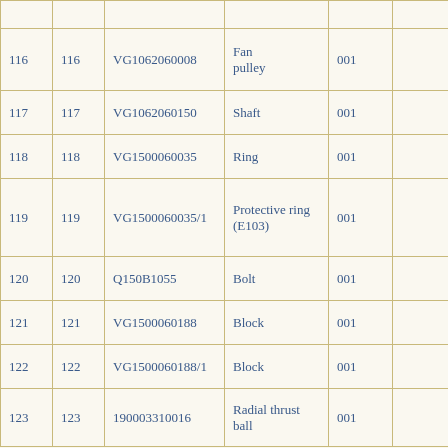|  |  |  |  |  |  |
| --- | --- | --- | --- | --- | --- |
| 116 | 116 | VG1062060008 | Fan pulley | 001 |  |
| 117 | 117 | VG1062060150 | Shaft | 001 |  |
| 118 | 118 | VG1500060035 | Ring | 001 |  |
| 119 | 119 | VG1500060035/1 | Protective ring (E103) | 001 |  |
| 120 | 120 | Q150B1055 | Bolt | 001 |  |
| 121 | 121 | VG1500060188 | Block | 001 |  |
| 122 | 122 | VG1500060188/1 | Block | 001 |  |
| 123 | 123 | 190003310016 | Radial thrust ball | 001 |  |